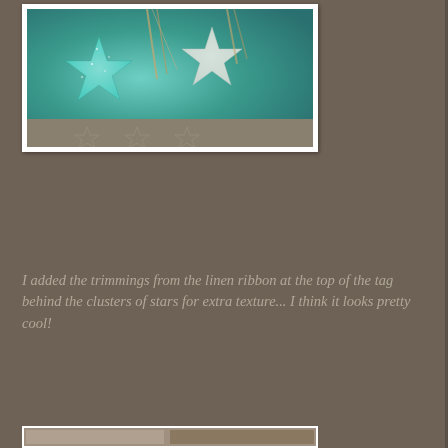[Figure (photo): Close-up photo of teal/turquoise glittery star decorations with linen ribbon trimmings on a craft tag, displayed in a white photo frame]
I added the trimmings from the linen ribbon at the top of the tag behind the clusters of stars for extra texture... I think it looks pretty cool!
[Figure (photo): Partially visible photo at bottom of page showing craft elements]